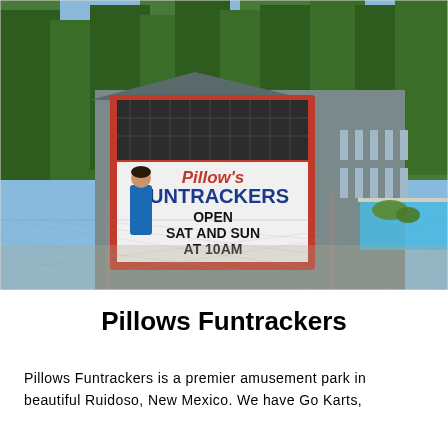[Figure (photo): Outdoor photo of Pillow's Funtrackers amusement park sign. The sign reads "Pillow's FUNTRACKERS OPEN SAT AND SUN AT 10AM". Green pine trees are visible in the background, a pool is to the right, and a person in a blue shirt stands to the left. Chain-link fence is in the foreground.]
Pillows Funtrackers
Pillows Funtrackers is a premier amusement park in beautiful Ruidoso, New Mexico. We have Go Karts,